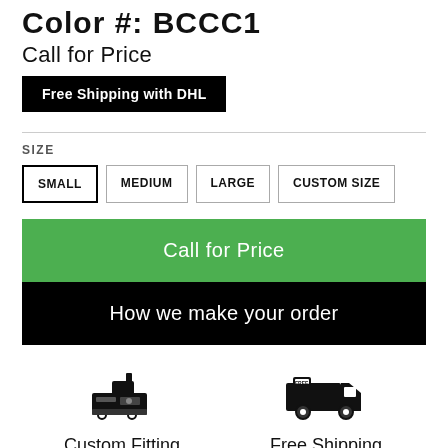Color #: BCCC1
Call for Price
Free Shipping with DHL
SIZE
SMALL  MEDIUM  LARGE  CUSTOM SIZE
Call for Price
How we make your order
[Figure (illustration): Sewing machine icon]
Custom Fitting
[Figure (illustration): Free shipping truck icon]
Free Shipping
Beautiful designer embroidered bridal lehnga dress paired